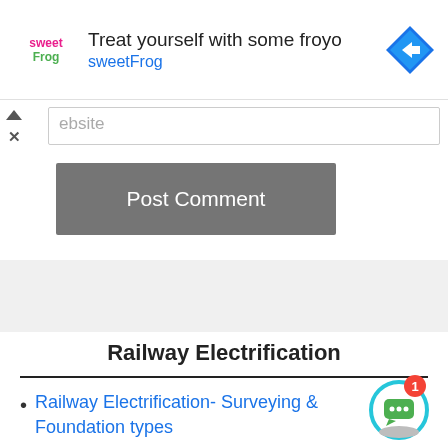[Figure (screenshot): Advertisement banner for sweetFrog frozen yogurt with logo, text 'Treat yourself with some froyo sweetFrog', and a blue diamond navigation icon]
[Figure (screenshot): Website input field partially visible with text 'ebsite' and a caret/chevron up icon]
[Figure (screenshot): Post Comment button, dark gray background with white text]
[Figure (screenshot): Gray spacer/advertisement area]
Railway Electrification
Railway Electrification- Surveying & Foundation types
[Figure (screenshot): Chat widget icon with notification badge showing '1']